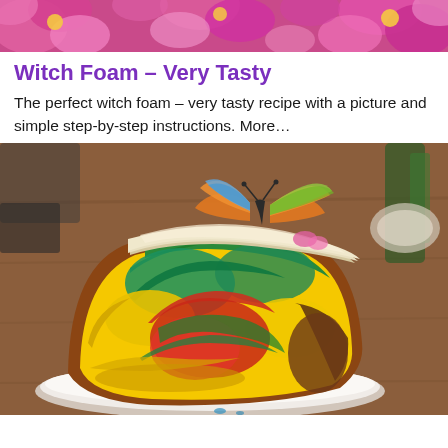[Figure (photo): Pink floral banner image at the top of the page, showing pink flowers close-up.]
Witch Foam – Very Tasty
The perfect witch foam – very tasty recipe with a picture and simple step-by-step instructions. More...
[Figure (photo): A slice of colorful rainbow marble cake topped with white cream frosting and a decorative butterfly topper, served on a white plate on a wooden table.]